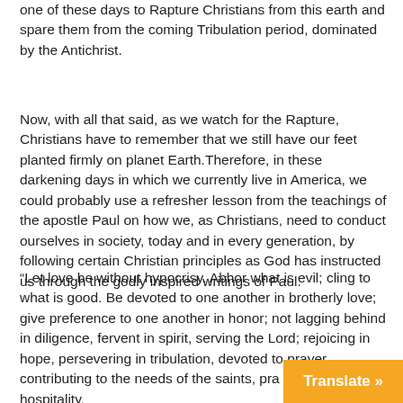one of these days to Rapture Christians from this earth and spare them from the coming Tribulation period, dominated by the Antichrist.
Now, with all that said, as we watch for the Rapture, Christians have to remember that we still have our feet planted firmly on planet Earth.Therefore, in these darkening days in which we currently live in America, we could probably use a refresher lesson from the teachings of the apostle Paul on how we, as Christians, need to conduct ourselves in society, today and in every generation, by following certain Christian principles as God has instructed us through the godly inspired writings of Paul.
“Let love be without hypocrisy. Abhor what is evil; cling to what is good. Be devoted to one another in brotherly love; give preference to one another in honor; not lagging behind in diligence, fervent in spirit, serving the Lord; rejoicing in hope, persevering in tribulation, devoted to prayer, contributing to the needs of the saints, practicing hospitality.
Translate »